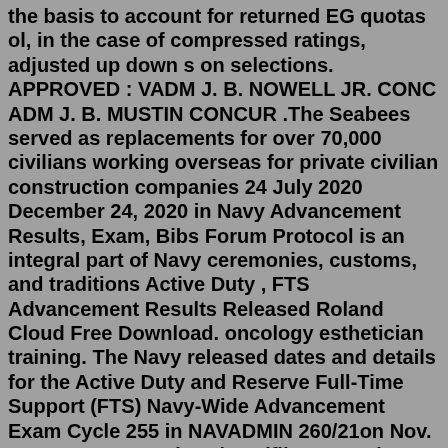the basis to account for returned EG quotas ol, in the case of compressed ratings, adjusted up down s on selections. APPROVED : VADM J. B. NOWELL JR. CONC ADM J. B. MUSTIN CONCUR .The Seabees served as replacements for over 70,000 civilians working overseas for private civilian construction companies 24 July 2020 December 24, 2020 in Navy Advancement Results, Exam, Bibs Forum Protocol is an integral part of Navy ceremonies, customs, and traditions Active Duty , FTS Advancement Results Released Roland Cloud Free Download. oncology esthetician training. The Navy released dates and details for the Active Duty and Reserve Full-Time Support (FTS) Navy-Wide Advancement Exam Cycle 255 in NAVADMIN 260/21on Nov. 17. -3.07.2022 Author: iag.elfilo.veneto.it Search: table of content Part 1 Part 2 Part 3 Part 4 Part 5 Part 6 Part 7 Part 8 Part 9 Part 10 Scope: Aileron assembly, NSN 1R-1680-016478786-E9, REF NR 570-000090 ...1. · 2021 Navy Advancement Quotas Released Navy announces from natzpanda.blogspot.com. We would like to show